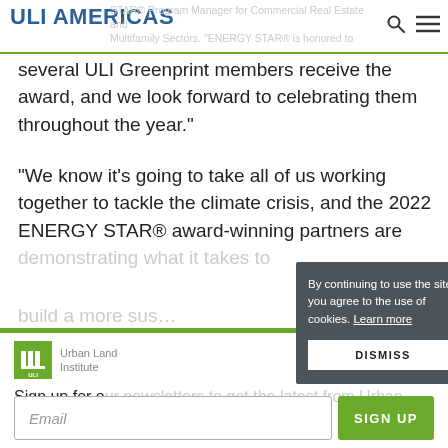ULI AMERICAS
STAR® Program Manager for Commercial Real Estate and Multifamily Sectors. "ENERGY STAR® is honored to have several ULI Greenprint members receive the award, and we look forward to celebrating them throughout the year."
"We know it's going to take all of us working together to tackle the climate crisis, and the 2022 ENERGY STAR® award-winning partners are demonstrating what it takes to build a more sus…
By continuing to use the site, you agree to the use of cookies. Learn more
DISMISS
[Figure (logo): Urban Land Institute ULI logo with green square]
Sign up for our newsletters to get the latest from Urban Land magazine.
Email
SIGN UP